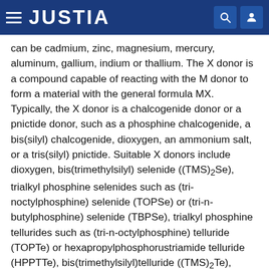JUSTIA
can be cadmium, zinc, magnesium, mercury, aluminum, gallium, indium or thallium. The X donor is a compound capable of reacting with the M donor to form a material with the general formula MX. Typically, the X donor is a chalcogenide donor or a pnictide donor, such as a phosphine chalcogenide, a bis(silyl) chalcogenide, dioxygen, an ammonium salt, or a tris(silyl) pnictide. Suitable X donors include dioxygen, bis(trimethylsilyl) selenide ((TMS)2Se), trialkyl phosphine selenides such as (tri-noctylphosphine) selenide (TOPSe) or (tri-n-butylphosphine) selenide (TBPSe), trialkyl phosphine tellurides such as (tri-n-octylphosphine) telluride (TOPTe) or hexapropylphosphorustriamide telluride (HPPTTe), bis(trimethylsilyl)telluride ((TMS)2Te), bis(trimethylsilyl)sulfide ((TMS)2S), a trialkyl phosphine sulfide such as (tri-noctylphosphine) sulfide (TOPS), an ammonium salt such as an ammonium halide (e.g.